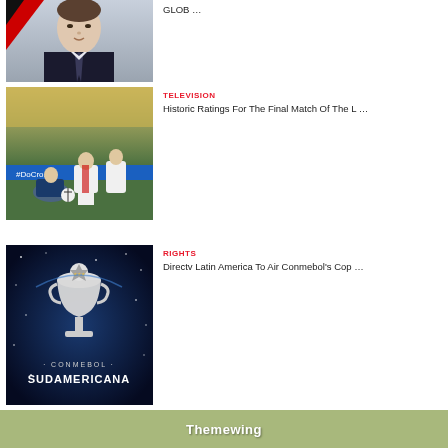[Figure (photo): Portrait photo of a man in a dark suit with tie, with a red and black graphic element in the corner]
GLOB …
[Figure (photo): Soccer match photo showing players from Boca Juniors and River Plate competing for the ball]
TELEVISION
Historic Ratings For The Final Match Of The L …
[Figure (photo): CONMEBOL Sudamericana logo on a dark blue starry background]
RIGHTS
Directv Latin America To Air Conmebol's Cop …
Themewing